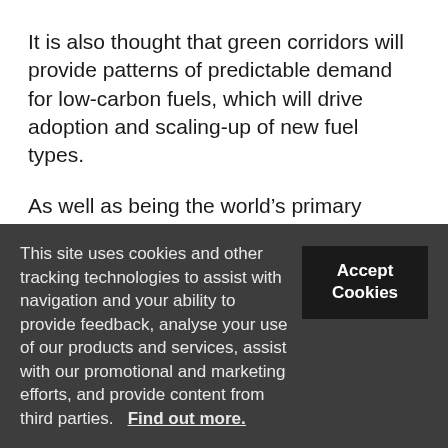It is also thought that green corridors will provide patterns of predictable demand for low-carbon fuels, which will drive adoption and scaling-up of new fuel types.
As well as being the world's primary shipping cluster and second-largest port, with 37.5m teu handled in 2021, Singapore is the world's largest bunkering hub and is likely to exercise an major role in the implementation of the bunkering provision. The
This site uses cookies and other tracking technologies to assist with navigation and your ability to provide feedback, analyse your use of our products and services, assist with our promotional and marketing efforts, and provide content from third parties. Find out more.